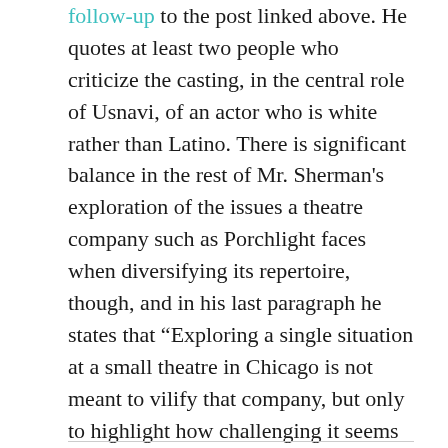follow-up to the post linked above. He quotes at least two people who criticize the casting, in the central role of Usnavi, of an actor who is white rather than Latino. There is significant balance in the rest of Mr. Sherman's exploration of the issues a theatre company such as Porchlight faces when diversifying its repertoire, though, and in his last paragraph he states that “Exploring a single situation at a small theatre in Chicago is not meant to vilify that company, but only to highlight how challenging it seems to be for so many to move to a place of true diversity and equity....”  If you’ve followed the story this far, I’ll bet you’ll want to read this new post in its entirety on artsintegrity.org.